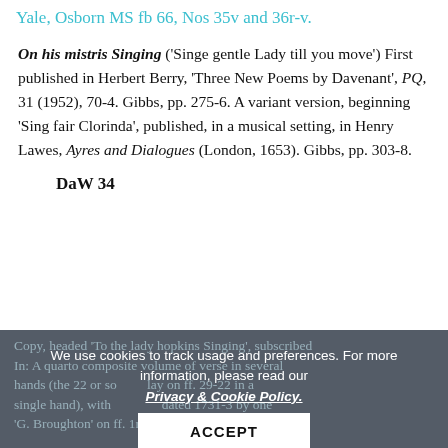Yale, Osborn MS fb 66, Nos 35v and 36r-v.
On his mistris Singing ('Singe gentle Lady till you move') First published in Herbert Berry, 'Three New Poems by Davenant', PQ, 31 (1952), 70-4. Gibbs, pp. 275-6. A variant version, beginning 'Sing fair Clorinda', published, in a musical setting, in Henry Lawes, Ayres and Dialogues (London, 1653). Gibbs, pp. 303-8.
DaW 34
Copy, headed 'To the lady hopkins Singing', subscribed In: A quarto composite volume of verse in several hands (the 22 or so who lay on ff. 29-22 in a single hand), with dated 1731-3 by one 'G. Broughton' on ff. 1r and after 44v, a reference to Si
We use cookies to track usage and preferences. For more information, please read our Privacy & Cookie Policy.
ACCEPT